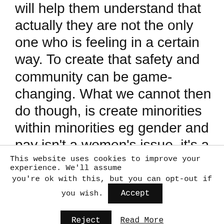will help them understand that actually they are not the only one who is feeling in a certain way. To create that safety and community can be game-changing. What we cannot then do though, is create minorities within minorities eg gender and pay isn't a women's issue, it's a business issue. So there is something around how do we make sure we celebrate, we build, we give it a platform to community whilst not making even more boundaries and more minority groups within the groups, in terms of how we operate.
This website uses cookies to improve your experience. We'll assume you're ok with this, but you can opt-out if you wish. Accept Reject Read More